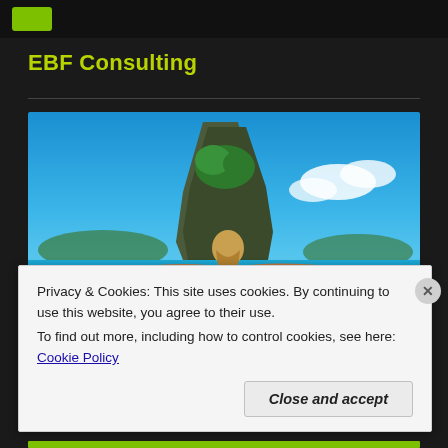EBF Consulting logo/header bar
EBF Consulting
[Figure (photo): Person with arms outstretched on a tropical beach with clear blue sky and a large rocky island formation in the background]
Privacy & Cookies: This site uses cookies. By continuing to use this website, you agree to their use.
To find out more, including how to control cookies, see here: Cookie Policy
Close and accept